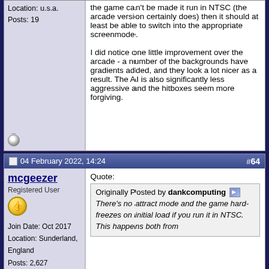Location: u.s.a.
Posts: 19
the game can't be made it run in NTSC (the arcade version certainly does) then it should at least be able to switch into the appropriate screenmode.

I did notice one little improvement over the arcade - a number of the backgrounds have gradients added, and they look a lot nicer as a result. The AI is also significantly less aggressive and the hitboxes seem more forgiving.
04 February 2022, 14:24
#64
mcgeezer
Registered User
Join Date: Oct 2017
Location: Sunderland, England
Posts: 2,627
Quote:
Originally Posted by dankcomputing
There's no attract mode and the game hard-freezes on initial load if you run it in NTSC. This happens both from